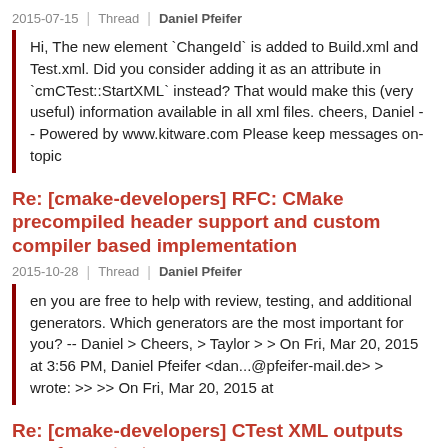2015-07-15 | Thread | Daniel Pfeifer
Hi, The new element `ChangeId` is added to Build.xml and Test.xml. Did you consider adding it as an attribute in `cmCTest::StartXML` instead? That would make this (very useful) information available in all xml files. cheers, Daniel -- Powered by www.kitware.com Please keep messages on-topic
Re: [cmake-developers] RFC: CMake precompiled header support and custom compiler based implementation
2015-10-28 | Thread | Daniel Pfeifer
en you are free to help with review, testing, and additional generators. Which generators are the most important for you? -- Daniel > Cheers, > Taylor > > On Fri, Mar 20, 2015 at 3:56 PM, Daniel Pfeifer <dan...@pfeifer-mail.de> > wrote: >> >> On Fri, Mar 20, 2015 at
Re: [cmake-developers] CTest XML outputs unsafe content
2015-08-27 | Thread | Daniel Pfeifer
by cmXMLWriter, this may lead to some double encodings. I